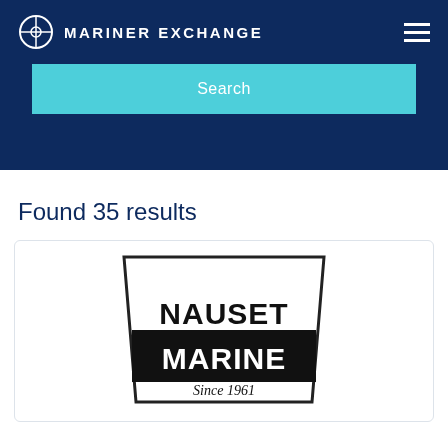[Figure (logo): Mariner Exchange logo with circular crosshair icon and text MARINER EXCHANGE in white on dark navy background]
[Figure (screenshot): Teal/cyan Search button]
Found 35 results
[Figure (logo): Nauset Marine Since 1961 logo in black and white]